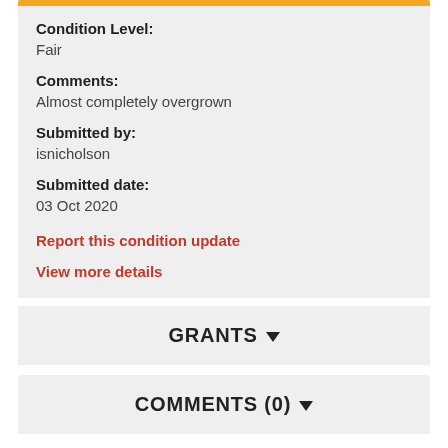Condition Level:
Fair
Comments:
Almost completely overgrown
Submitted by:
isnicholson
Submitted date:
03 Oct 2020
Report this condition update
View more details
GRANTS
COMMENTS (0)